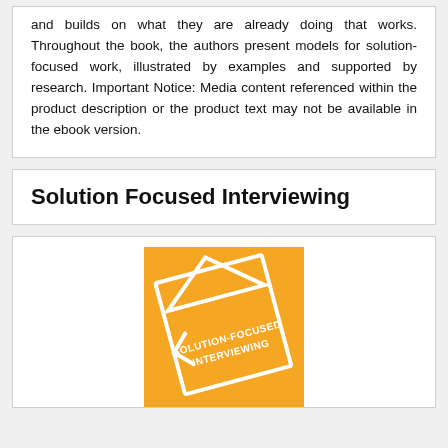and builds on what they are already doing that works. Throughout the book, the authors present models for solution-focused work, illustrated by examples and supported by research. Important Notice: Media content referenced within the product description or the product text may not be available in the ebook version.
Solution Focused Interviewing
[Figure (illustration): Book cover for 'Solution-Focused Interviewing' with orange background and white geometric house/arrow shapes, with text 'SOLUTION-FOCUSED INTERVIEWING' in bold.]